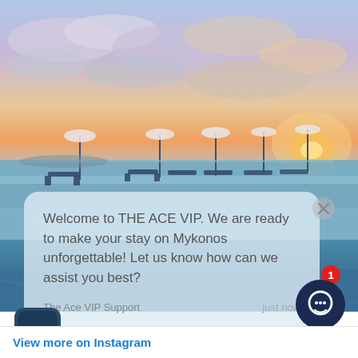[Figure (photo): Hotel infinity pool at sunset with loungers and beach umbrellas, dramatic sky with orange and pink clouds reflected in calm water. Overlay chat widget showing a welcome message from The Ace VIP Support. Close button top right of bubble. ACE logo avatar bottom left. Chat icon button with red notification badge '1' bottom right.]
Welcome to THE ACE VIP. We are ready to make your stay on Mykonos unforgettable! Let us know how can we assist you best?
The Ace VIP Support    just now
View more on Instagram